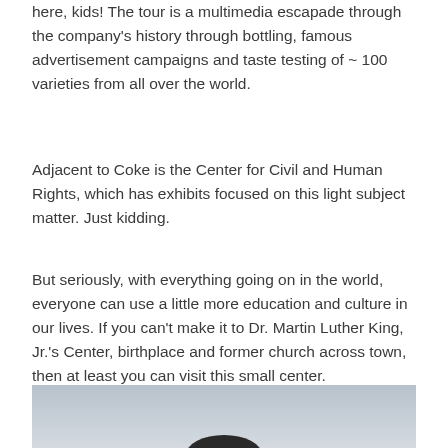here, kids!  The tour is a multimedia escapade through the company's history through bottling, famous advertisement campaigns and taste testing of ~ 100 varieties from all over the world.
Adjacent to Coke is the Center for Civil and Human Rights, which has exhibits focused on this light subject matter.  Just kidding.
But seriously, with everything going on in the world, everyone can use a little more education and culture in our lives.  If you can't make it to Dr. Martin Luther King, Jr.'s Center, birthplace and former church across town, then at least you can visit this small center.
[Figure (photo): A photo showing a partially visible scene with a grey sky background and a dark rounded shape visible at the bottom center, suggesting an outdoor monument or structure.]